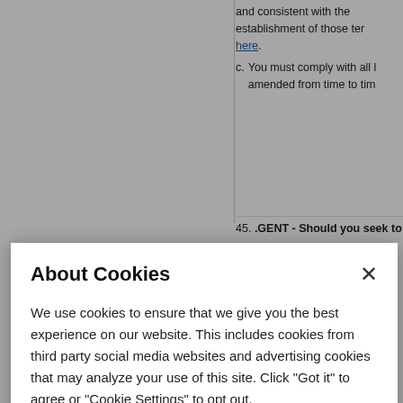and consistent with the establishment of those terms here.
c. You must comply with all laws amended from time to time
45. .GENT - Should you seek to ...
ou m ilicts egist d agr omai as de othe rstem e law dispu tion o beha r age ive P with a arran t infri
About Cookies
We use cookies to ensure that we give you the best experience on our website. This includes cookies from third party social media websites and advertising cookies that may analyze your use of this site. Click "Got it" to agree or "Cookie Settings" to opt out.
Cookie Notice
Got It
Cookies Settings